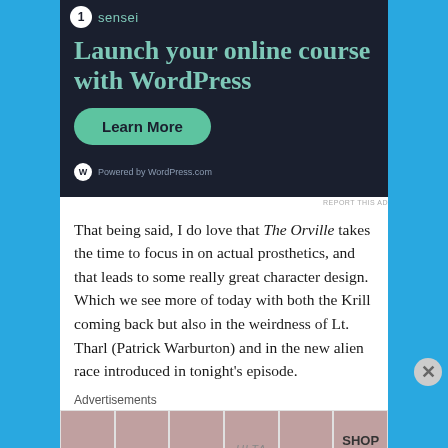[Figure (screenshot): Advertisement banner: dark background with 'Launch your online course with WordPress' headline in teal, a 'Learn More' teal button, and 'Powered by WordPress.com' footer logo.]
REPORT THIS AD
That being said, I do love that The Orville takes the time to focus in on actual prosthetics, and that leads to some really great character design. Which we see more of today with both the Krill coming back but also in the weirdness of Lt. Tharl (Patrick Warburton) and in the new alien race introduced in tonight's episode.
Advertisements
[Figure (photo): Bottom advertisement strip showing Ulta Beauty ad with several close-up makeup/beauty images and 'SHOP NOW' text.]